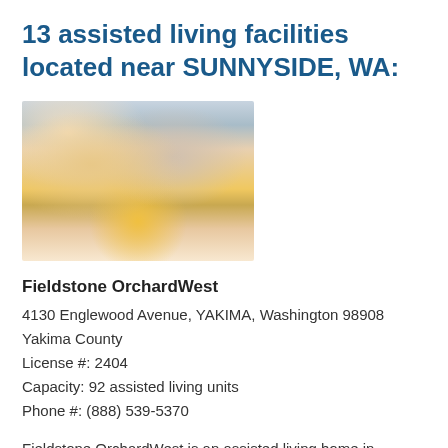13 assisted living facilities located near SUNNYSIDE, WA:
[Figure (photo): Photo of a caregiver feeding an elderly woman in bed, who is holding a yellow bowl]
Fieldstone OrchardWest
4130 Englewood Avenue, YAKIMA, Washington 98908
Yakima County
License #: 2404
Capacity: 92 assisted living units
Phone #: (888) 539-5370
Fieldstone OrchardWest is an assisted living home in YAKIMA, WA in the 98908 zip code area that provides